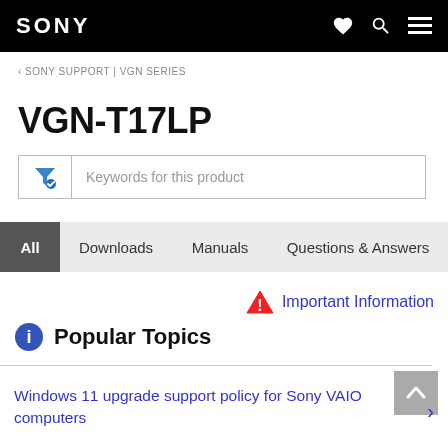SONY
‹ SONY SUPPORT | VGN SERIES
VGN-T17LP
Keywords for this product
All   Downloads   Manuals   Questions & Answers
⚠ Important Information
Popular Topics
Windows 11 upgrade support policy for Sony VAIO computers